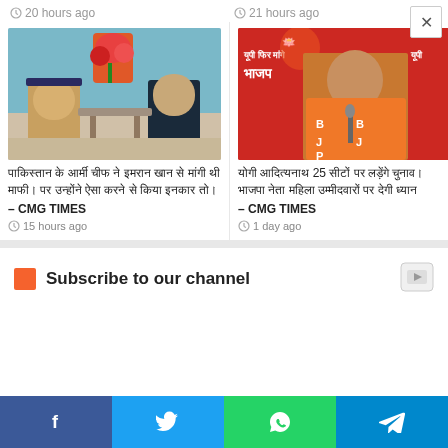20 hours ago  |  21 hours ago
[Figure (photo): Two men in military/formal attire seated on chairs in an official-looking room with flowers in background]
Hindi headline text about Pakistan army chief meeting – CMG TIMES
15 hours ago
[Figure (photo): Man in orange BJP scarf speaking at a podium with BJP election campaign banners in background]
Hindi headline text about UP BJP 25 percent seats – CMG TIMES
1 day ago
Subscribe to our channel
f  |  Twitter bird  |  WhatsApp  |  Telegram